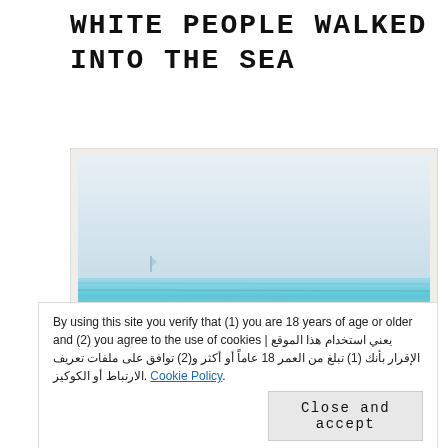WHITE PEOPLE WALKED INTO THE SEA
[Figure (illustration): Watercolor painting of a seascape with a pale sky, a thin horizontal band of light blue sea, and sandy shore. There are faint marks in the lower portion suggesting footprints or script.]
By using this site you verify that (1) you are 18 years of age or older and (2) you agree to the use of cookies | يعني استخدام هذا الموقع الإقرار بأنك (1) تبلغ من العمر 18 عاماً أو أكثر و(2) توافق على ملفات تعريف الارتباط أو الكوكيز. Cookie Policy.
Close and accept
evildoer, flees even though he not be pursued, for